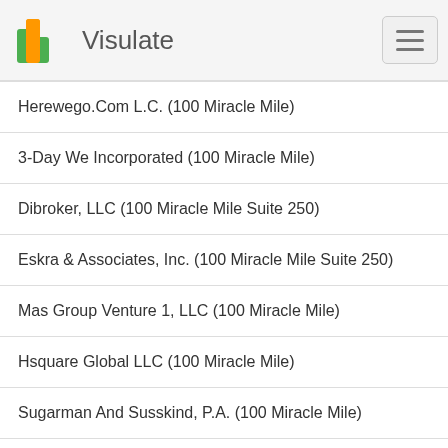Visulate
Herewego.Com L.C. (100 Miracle Mile)
3-Day We Incorporated (100 Miracle Mile)
Dibroker, LLC (100 Miracle Mile Suite 250)
Eskra & Associates, Inc. (100 Miracle Mile Suite 250)
Mas Group Venture 1, LLC (100 Miracle Mile)
Hsquare Global LLC (100 Miracle Mile)
Sugarman And Susskind, P.A. (100 Miracle Mile)
Old Cutler Springs Association, Inc. (100 Miracle Mile)
Celtic Fund Management, LLC (98 Miracle Mile)
Amigo Grill Corp (98 Miracle Mile)